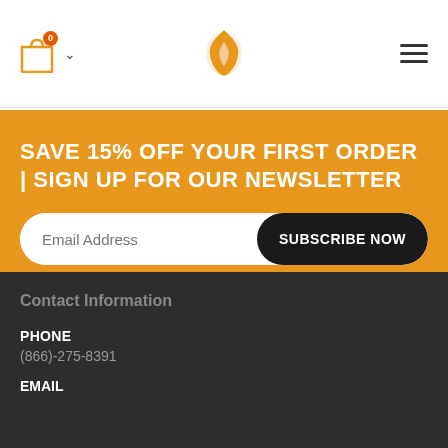Shopping cart (0) | Logo | Hamburger menu
SAVE 15% OFF YOUR FIRST ORDER | SIGN UP FOR OUR NEWSLETTER
Email Address | SUBSCRIBE NOW
Contact Information
PHONE
(866)-275-8391
EMAIL